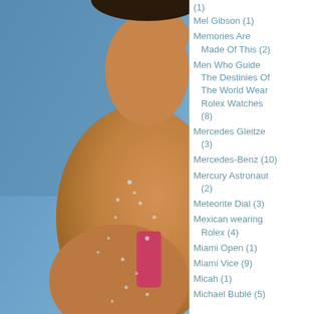[Figure (photo): Close-up photo of a person's shoulder and neck, wet skin with water droplets, wearing a pink swimsuit, blue sky background]
(1)
Mel Gibson (1)
Memories Are Made Of This (2)
Men Who Guide The Destinies Of The World Wear Rolex Watches (8)
Mercedes Gleitze (3)
Mercedes-Benz (10)
Mercury Astronaut (2)
Meteorite Dial (3)
Mexican wearing Rolex (4)
Miami Open (1)
Miami Vice (9)
Micah (1)
Michael Bublé (5)